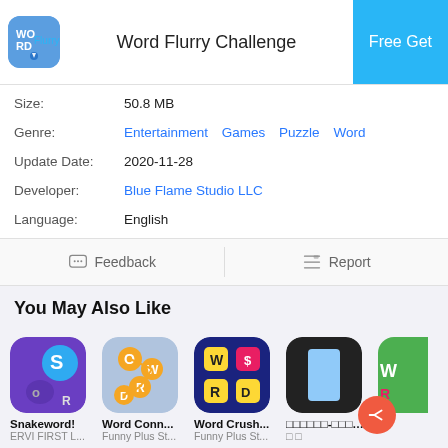Word Flurry Challenge
| Field | Value |
| --- | --- |
| Size: | 50.8 MB |
| Genre: | Entertainment  Games  Puzzle  Word |
| Update Date: | 2020-11-28 |
| Developer: | Blue Flame Studio LLC |
| Language: | English |
Feedback   Report
You May Also Like
[Figure (screenshot): Row of app icons: Snakeword! (ERVI FIRST L...), Word Conn... (Funny Plus St...), Word Crush... (Funny Plus St...), partial icon with blue rectangle (square icon), partial colorful word game icon]
Snakeword!  ERVI FIRST L...   Word Conn...  Funny Plus St...   Word Crush...  Funny Plus St...   □□□□□□-□□□□□□□...  □ □   (partial) rd  EW T